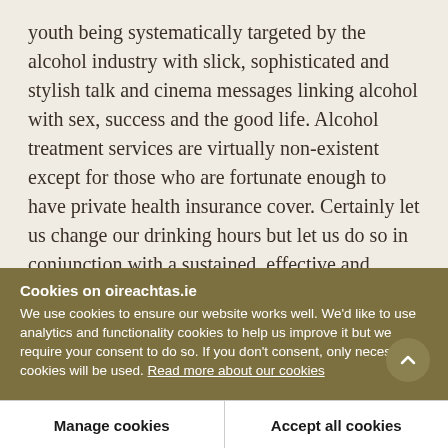youth being systematically targeted by the alcohol industry with slick, sophisticated and stylish talk and cinema messages linking alcohol with sex, success and the good life. Alcohol treatment services are virtually non-existent except for those who are fortunate enough to have private health insurance cover. Certainly let us change our drinking hours but let us do so in conjunction with a sustained, effective and professional national campaign to promote sensible drinking habits. Let us mount a national
Cookies on oireachtas.ie
We use cookies to ensure our website works well. We'd like to use analytics and functionality cookies to help us improve it but we require your consent to do so. If you don't consent, only necessary cookies will be used. Read more about our cookies
Manage cookies
Accept all cookies